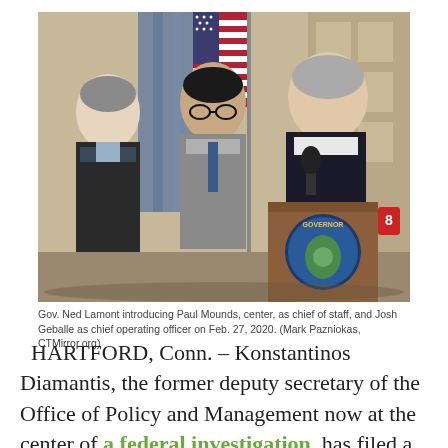[Figure (photo): Gov. Ned Lamont standing at a podium with a Governor seal, speaking at a press conference, with Paul Mounds (center, in gray suit) and Josh Geballe (left, in dark suit) standing beside him. An American flag is visible in the background.]
Gov. Ned Lamont introducing Paul Mounds, center, as chief of staff, and Josh Geballe as chief operating officer on Feb. 27, 2020. (Mark Pazniokas, CTMirror.org)
HARTFORD, Conn. – Konstantinos Diamantis, the former deputy secretary of the Office of Policy and Management now at the center of a federal investigation, has filed a grievance naming Joshua